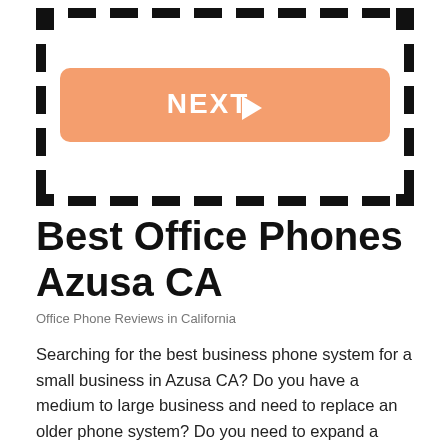[Figure (other): Orange rounded rectangle button labeled NEXT with a play arrow, surrounded by a dashed black border frame]
Best Office Phones Azusa CA
Office Phone Reviews in California
Searching for the best business phone system for a small business in Azusa CA? Do you have a medium to large business and need to replace an older phone system? Do you need to expand a current PBX system or are you simply trying to cut costs? If